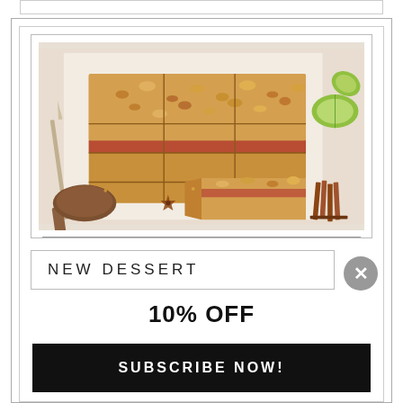[Figure (photo): Overhead view of apple crumble bars cut into squares on parchment paper, with a knife, halved green apple, cinnamon sticks, star anise, and a brown cloth napkin]
NEW DESSERT
10% OFF
SUBSCRIBE NOW!